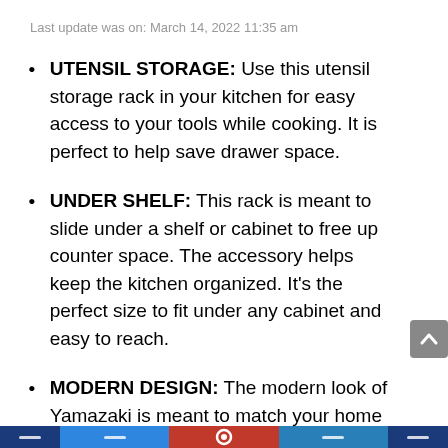Last update was on: March 14, 2022 11:35 am
UTENSIL STORAGE: Use this utensil storage rack in your kitchen for easy access to your tools while cooking. It is perfect to help save drawer space.
UNDER SHELF: This rack is meant to slide under a shelf or cabinet to free up counter space. The accessory helps keep the kitchen organized. It’s the perfect size to fit under any cabinet and easy to reach.
MODERN DESIGN: The modern look of Yamazaki is meant to match your home decor. It is simple and stylish, made of steel. A metal bolt with an attached rubber foot helps keep the unit in place without damaging your cabinets.